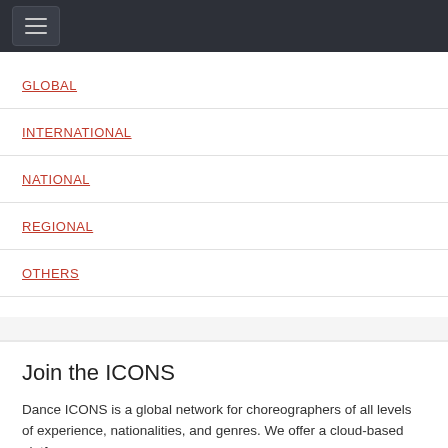Navigation menu header bar with hamburger icon
GLOBAL
INTERNATIONAL
NATIONAL
REGIONAL
OTHERS
Join the ICONS
Dance ICONS is a global network for choreographers of all levels of experience, nationalities, and genres. We offer a cloud-based platform